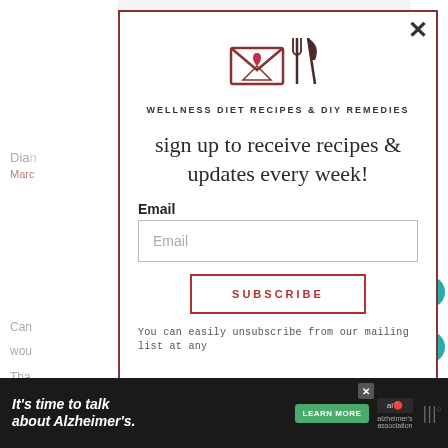[Figure (screenshot): Email/recipe newsletter signup modal popup overlay on a webpage. Contains an envelope icon with fork and knife, title 'WELLNESS DIET RECIPES & DIY REMEDIES', tagline 'sign up to receive recipes & updates every week!', email input field, SUBSCRIBE button, and unsubscribe note. Background shows partially visible webpage content. Right sidebar shows heart/share icons with count 376. Bottom shows Alzheimer's awareness advertisement banner.]
WELLNESS DIET RECIPES & DIY REMEDIES
sign up to receive recipes & updates every week!
Email
SUBSCRIBE
You can easily unsubscribe from our mailing list at any
376
It's time to talk about Alzheimer's.